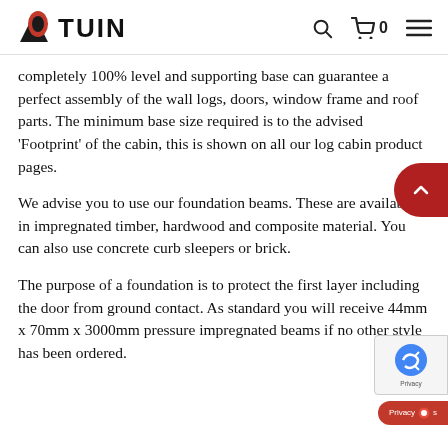TUIN
completely 100% level and supporting base can guarantee a perfect assembly of the wall logs, doors, window frame and roof parts. The minimum base size required is to the advised 'Footprint' of the cabin, this is shown on all our log cabin product pages.
We advise you to use our foundation beams. These are available in impregnated timber, hardwood and composite material. You can also use concrete curb sleepers or brick.
The purpose of a foundation is to protect the first layer including the door from ground contact. As standard you will receive 44mm x 70mm x 3000mm pressure impregnated beams if no other style has been ordered.